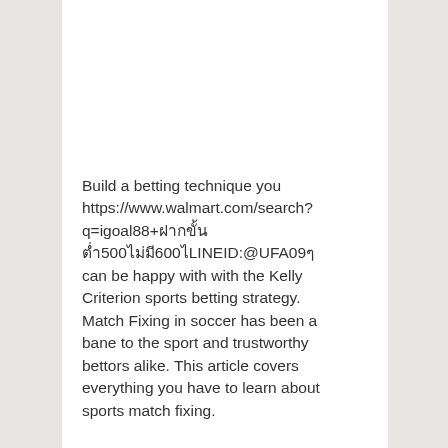Build a betting technique you https://www.walmart.com/search?q=igoal88+ฝากขั้นต่ำ500ไม่มี600ไLINEID:@UFA09ๆ can be happy with with the Kelly Criterion sports betting strategy. Match Fixing in soccer has been a bane to the sport and trustworthy bettors alike. This article covers everything you have to learn about sports match fixing.
The match also highlights that the timing of a wager is essential to its worth. Backing a preferred underdog